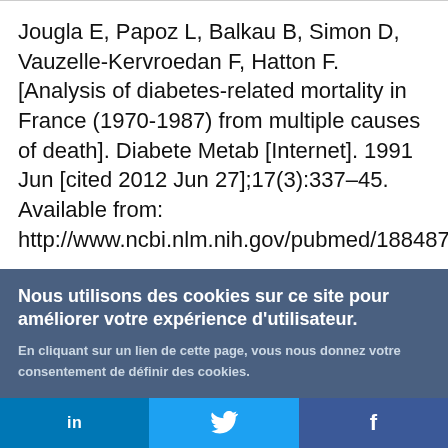Jougla E, Papoz L, Balkau B, Simon D, Vauzelle-Kervroedan F, Hatton F. [Analysis of diabetes-related mortality in France (1970-1987) from multiple causes of death]. Diabete Metab [Internet]. 1991 Jun [cited 2012 Jun 27];17(3):337–45. Available from: http://www.ncbi.nlm.nih.gov/pubmed/1884877
Nous utilisons des cookies sur ce site pour améliorer votre expérience d'utilisateur.
En cliquant sur un lien de cette page, vous nous donnez votre consentement de définir des cookies.
Oui, je suis d'accord
Plus d'infos
in  [Twitter bird]  f